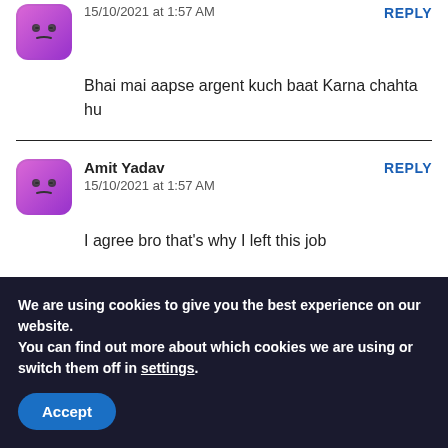15/10/2021 at 1:57 AM
Bhai mai aapse argent kuch baat Karna chahta hu
Amit Yadav
15/10/2021 at 1:57 AM
I agree bro that's why I left this job
We are using cookies to give you the best experience on our website.
You can find out more about which cookies we are using or switch them off in settings.